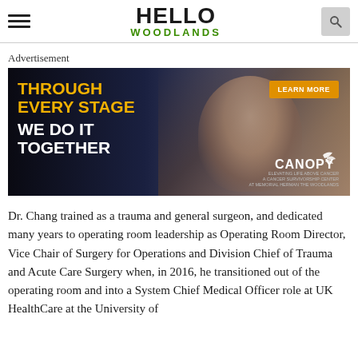HELLO WOODLANDS
Advertisement
[Figure (photo): Canopy cancer support advertisement banner. Dark background with a smiling older woman with white/blonde hair. Yellow text reads 'THROUGH EVERY STAGE' and white text reads 'WE DO IT TOGETHER'. Orange 'LEARN MORE' button at top right. Canopy logo with leaf/plant motif at bottom right. Tagline: Elevating Life Above Cancer.]
Dr. Chang trained as a trauma and general surgeon, and dedicated many years to operating room leadership as Operating Room Director, Vice Chair of Surgery for Operations and Division Chief of Trauma and Acute Care Surgery when, in 2016, he transitioned out of the operating room and into a System Chief Medical Officer role at UK HealthCare at the University of